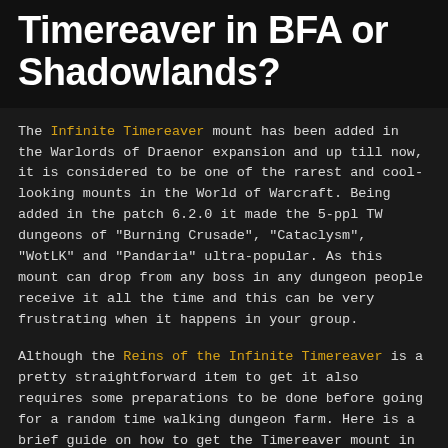Timereaver in BFA or Shadowlands?
The Infinite Timereaver mount has been added in the Warlords of Draenor expansion and up till now, it is considered to be one of the rarest and cool-looking mounts in the World of Warcraft. Being added in the patch 6.2.0 it made the 5-ppl TW dungeons of "Burning Crusade", "Cataclysm", "WotLK" and "Pandaria" ultra-popular. As this mount can drop from any boss in any dungeon people receive it all the time and this can be very frustrating when it happens in your group.
Although the Reins of the Infinite Timereaver is a pretty straightforward item to get it also requires some preparations to be done before going for a random time walking dungeon farm. Here is a brief guide on how to get the Timereaver mount in the current expansion:
decide if you are going alone or assembling a TW mount carry team;
if doing the farm solo opt for being a tank or a healer;